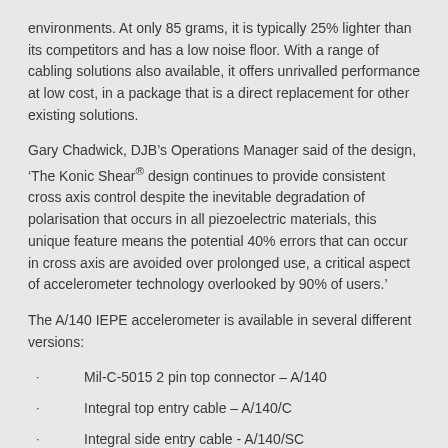environments. At only 85 grams, it is typically 25% lighter than its competitors and has a low noise floor. With a range of cabling solutions also available, it offers unrivalled performance at low cost, in a package that is a direct replacement for other existing solutions.
Gary Chadwick, DJB’s Operations Manager said of the design, ‘The Konic Shear® design continues to provide consistent cross axis control despite the inevitable degradation of polarisation that occurs in all piezoelectric materials, this unique feature means the potential 40% errors that can occur in cross axis are avoided over prolonged use, a critical aspect of accelerometer technology overlooked by 90% of users.’
The A/140 IEPE accelerometer is available in several different versions:
Mil-C-5015 2 pin top connector – A/140
Integral top entry cable – A/140/C
Integral side entry cable - A/140/SC
Waterproof integral cable, top entry – A/140/W